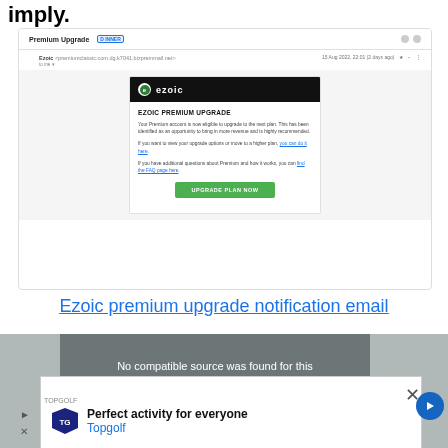imply.
[Figure (screenshot): Screenshot of an email from Ezoic with subject 'Premium Upgrade' showing an Ezoic Premium Upgrade notification email with a green 'UPGRADE PLAN NOW' button]
Ezoic premium upgrade notification email
[Figure (screenshot): Bottom portion showing a video player with 'No compatible source was found for this media.' message overlapping with a Topgolf advertisement showing 'Perfect activity for everyone' and 'Is it Worth It?' text in background]